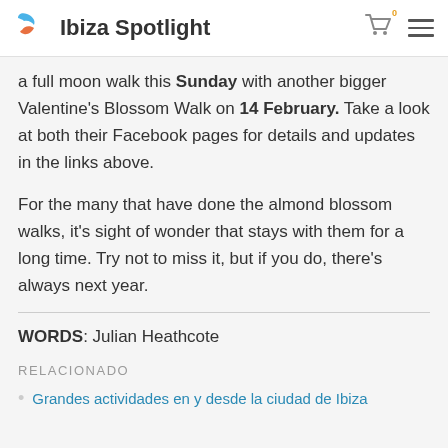Ibiza Spotlight
a full moon walk this Sunday with another bigger Valentine's Blossom Walk on 14 February. Take a look at both their Facebook pages for details and updates in the links above.
For the many that have done the almond blossom walks, it's sight of wonder that stays with them for a long time. Try not to miss it, but if you do, there's always next year.
WORDS: Julian Heathcote
RELACIONADO
Grandes actividades en y desde la ciudad de Ibiza